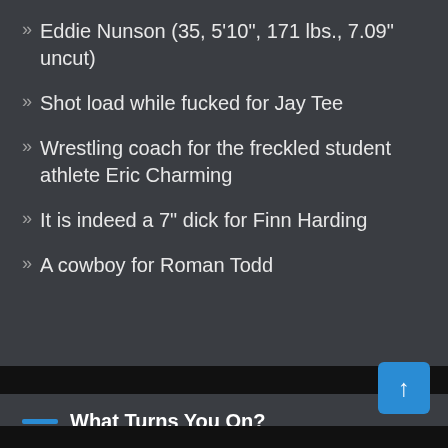Eddie Nunson (35, 5'10", 171 lbs., 7.09" uncut)
Shot load while fucked for Jay Tee
Wrestling coach for the freckled student athlete Eric Charming
It is indeed a 7" dick for Finn Harding
A cowboy for Roman Todd
What Turns You On?
Select Category